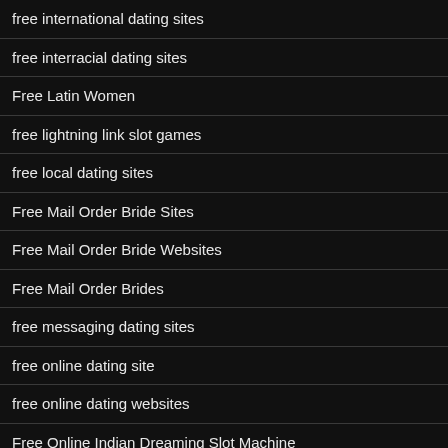free international dating sites
free interracial dating sites
Free Latin Women
free lightning link slot games
free local dating sites
Free Mail Order Bride Sites
Free Mail Order Bride Websites
Free Mail Order Brides
free messaging dating sites
free online dating site
free online dating websites
Free Online Indian Dreaming Slot Machine
free photography website